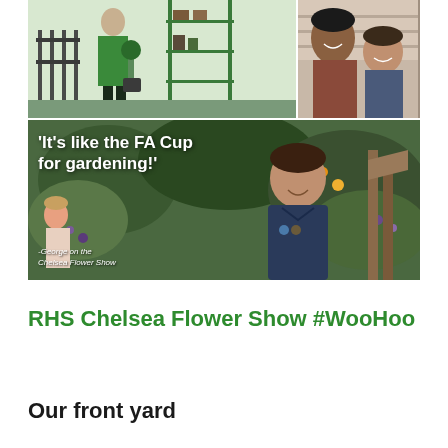[Figure (photo): Collage of three photos: top-left shows a person in green carrying a plant near metal shelving outdoors; top-right shows two smiling people (adult and child) taking a selfie; bottom shows a young boy standing in a garden with a bold white text quote overlay reading 'It's like the FA Cup for gardening!' attributed to George on the Chelsea Flower Show]
RHS Chelsea Flower Show #WooHoo
Our front yard